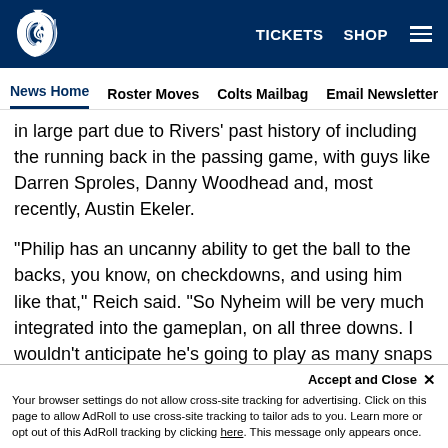Indianapolis Colts navigation — TICKETS  SHOP  [menu]
News Home  Roster Moves  Colts Mailbag  Email Newsletter  U…
in large part due to Rivers' past history of including the running back in the passing game, with guys like Darren Sproles, Danny Woodhead and, most recently, Austin Ekeler.

"Philip has an uncanny ability to get the ball to the backs, you know, on checkdowns, and using him like that," Reich said. "So Nyheim will be very much integrated into the gameplan, on all three downs. I wouldn't anticipate he's going to play as many snaps as Marlon and Jonathan, but there's still enough snaps for him to be very, very productive this year. Very
Accept and Close ×
Your browser settings do not allow cross-site tracking for advertising. Click on this page to allow AdRoll to use cross-site tracking to tailor ads to you. Learn more or opt out of this AdRoll tracking by clicking here. This message only appears once.